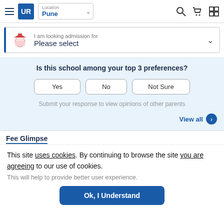[Figure (screenshot): Navigation bar with hamburger menu, UR logo, location selector showing Pune, search icon, cart icon, and grid icon]
[Figure (screenshot): Admission dropdown bar with graduation cap icon, text 'I am looking admission for Please select' and chevron]
Is this school among your top 3 preferences?
Yes   No   Not Sure
Submit your response to view opinions of other parents
View all
Fee Glimpse
This site uses cookies. By continuing to browse the site you are agreeing to our use of cookies.
This will help to provide better user experience.
Ok, I Understand